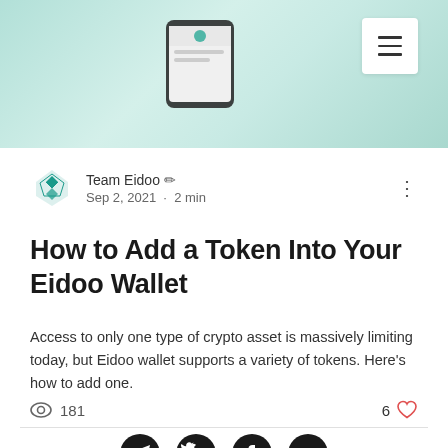[Figure (screenshot): Teal/mint gradient background with phone mockup showing Eidoo app, and hamburger menu icon in white box top right]
Team Eidoo ✏ Sep 2, 2021 · 2 min
How to Add a Token Into Your Eidoo Wallet
Access to only one type of crypto asset is massively limiting today, but Eidoo wallet supports a variety of tokens. Here's how to add one.
181 views · 6 likes
[Figure (illustration): Four social media icons: Telegram, Twitter, Facebook, YouTube]